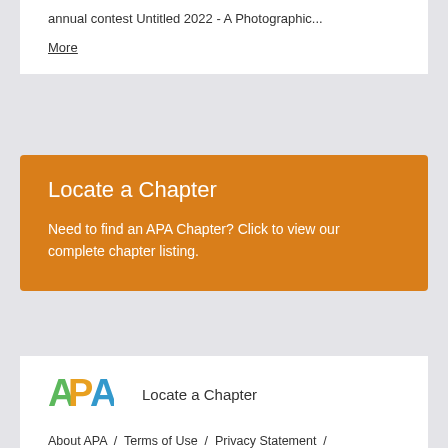annual contest Untitled 2022 - A Photographic...
More
Locate a Chapter
Need to find an APA Chapter? Click to view our complete chapter listing.
[Figure (logo): APA logo with colorful letters A, P, A in green, orange/yellow, and blue]
Locate a Chapter
About APA / Terms of Use / Privacy Statement /